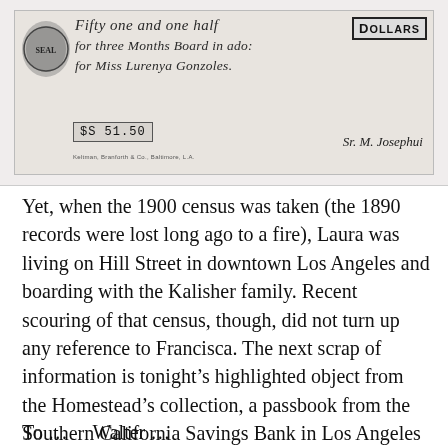[Figure (photo): Scanned image of a historical handwritten check or receipt. Cursive text reads: 'Fifty one and one half', 'for three Months Board in ado:', 'for Miss Lurenya Gonzoles.' with a DOLLARS stamp in upper right, an amount box showing '$S 51.50', a decorative seal on the left, a signature reading 'Sr. M. Josephui', and small printer text at bottom reading 'Keltman, Branforth & Co., Baltimore, L.A.']
Yet, when the 1900 census was taken (the 1890 records were lost long ago to a fire), Laura was living on Hill Street in downtown Los Angeles and boarding with the Kalisher family. Recent scouring of that census, though, did not turn up any reference to Francisca. The next scrap of information is tonight's highlighted object from the Homestead's collection, a passbook from the Southern California Savings Bank in Los Angeles and which had a date of 29 November 1905 for the deposit of $550 in an account denoted as “Walter P. Temple, Trustee for Francisca Valenzuela.”
To … … Walter … …